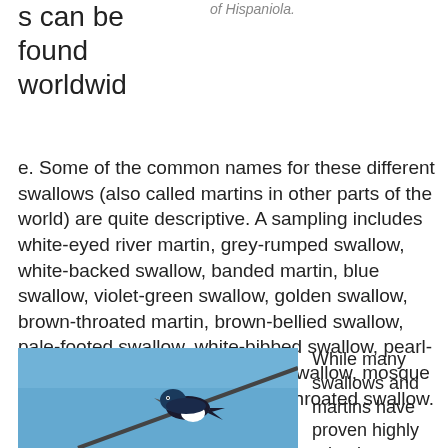swallows can be found worldwide.
of Hispaniola.
e. Some of the common names for these different swallows (also called martins in other parts of the world) are quite descriptive. A sampling includes white-eyed river martin, grey-rumped swallow, white-backed swallow, banded martin, blue swallow, violet-green swallow, golden swallow, brown-throated martin, brown-bellied swallow, pale-footed swallow, white-bibbed swallow, pearl-breasted swallow, red-breasted swallow, mosque swallow, fairy martin and streak-throated swallow.
[Figure (photo): A swallow bird perched on a wire against a blue sky background]
While many swallows and martins have proven highly adaptive